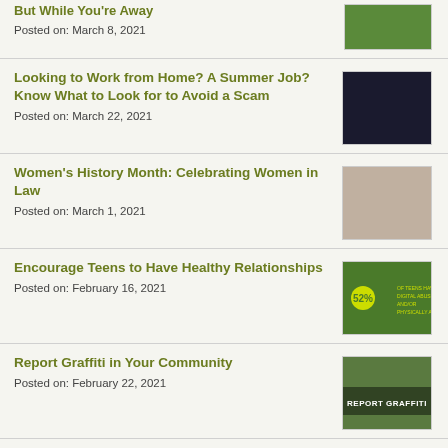But While You're Away
Posted on: March 8, 2021
Looking to Work from Home? A Summer Job? Know What to Look for to Avoid a Scam
Posted on: March 22, 2021
Women's History Month: Celebrating Women in Law
Posted on: March 1, 2021
Encourage Teens to Have Healthy Relationships
Posted on: February 16, 2021
Report Graffiti in Your Community
Posted on: February 22, 2021
Have You Checked Your Credit Report?